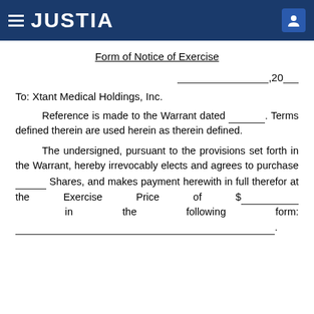JUSTIA
Form of Notice of Exercise
____________________,20__
To: Xtant Medical Holdings, Inc.
Reference is made to the Warrant dated __________. Terms defined therein are used herein as therein defined.
The undersigned, pursuant to the provisions set forth in the Warrant, hereby irrevocably elects and agrees to purchase ______ Shares, and makes payment herewith in full therefor at the Exercise Price of $__________ in the following form: ______________________________.